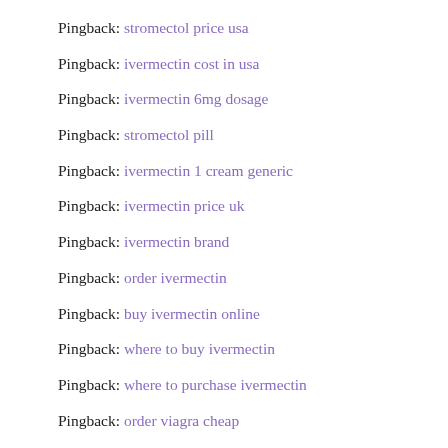Pingback: stromectol price usa
Pingback: ivermectin cost in usa
Pingback: ivermectin 6mg dosage
Pingback: stromectol pill
Pingback: ivermectin 1 cream generic
Pingback: ivermectin price uk
Pingback: ivermectin brand
Pingback: order ivermectin
Pingback: buy ivermectin online
Pingback: where to buy ivermectin
Pingback: where to purchase ivermectin
Pingback: order viagra cheap